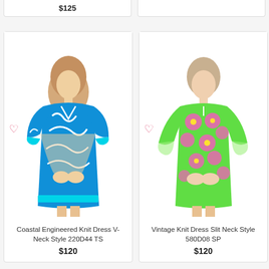[Figure (photo): Partial view of a product card showing price $125 at top left]
[Figure (photo): Partial view of a second product card at top right]
[Figure (photo): Woman wearing a blue and white coastal engineered knit dress V-Neck style, with heart/wishlist icon]
Coastal Engineered Knit Dress V-Neck Style 220D44 TS
$120
[Figure (photo): Woman wearing a green and pink floral vintage knit dress slit neck style, with heart/wishlist icon]
Vintage Knit Dress Slit Neck Style 580D08 SP
$120